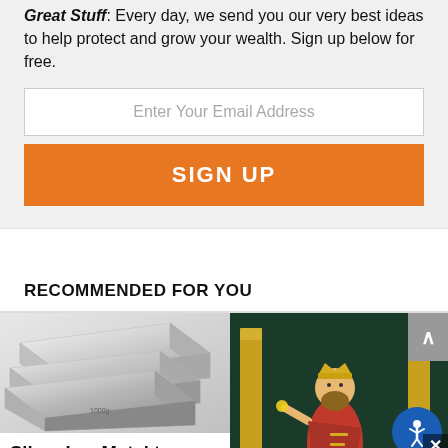Great Stuff. Every day, we send you our very best ideas to help protect and grow your wealth. Sign up below for free.
[Figure (screenshot): Email input field with placeholder 'Enter Your Email Address']
[Figure (screenshot): Orange SIGN UP button]
RECOMMENDED FOR YOU
[Figure (photo): Silver bullion bars stacked on white background]
[Figure (illustration): Illustrated figure of King Midas in red robes touching golden columns on dark green background]
Silver Is a Metal to Watch in the New
[Figure (screenshot): Share This dropdown bar overlay at bottom of page]
[Figure (screenshot): Accessibility icon button (blue circle with person icon)]